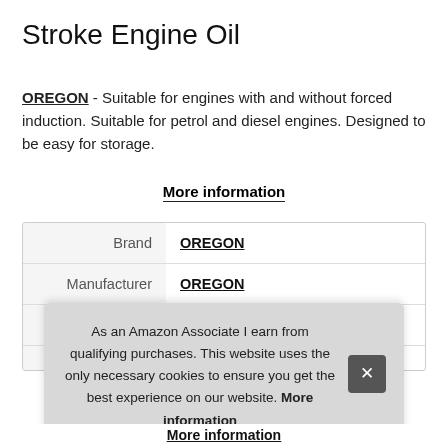Stroke Engine Oil
OREGON - Suitable for engines with and without forced induction. Suitable for petrol and diesel engines. Designed to be easy for storage.
More information
|  |  |
| --- | --- |
| Brand | OREGON |
| Manufacturer | OREGON |
| P |  |
As an Amazon Associate I earn from qualifying purchases. This website uses the only necessary cookies to ensure you get the best experience on our website. More information
More information